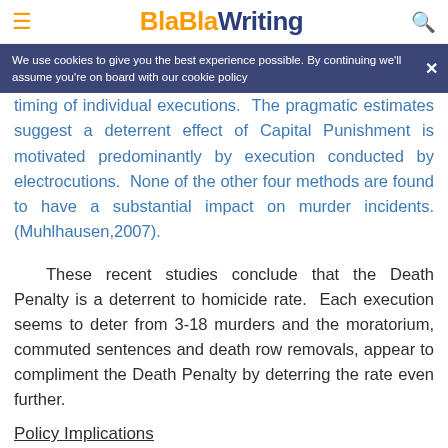BlaBlaWriting
We use cookies to give you the best experience possible. By continuing we'll assume you're on board with our cookie policy
timing of individual executions. The pragmatic estimates suggest a deterrent effect of Capital Punishment is motivated predominantly by execution conducted by electrocutions. None of the other four methods are found to have a substantial impact on murder incidents. (Muhlhausen,2007).
These recent studies conclude that the Death Penalty is a deterrent to homicide rate. Each execution seems to deter from 3-18 murders and the moratorium, commuted sentences and death row removals, appear to compliment the Death Penalty by deterring the rate even further.
Policy Implications